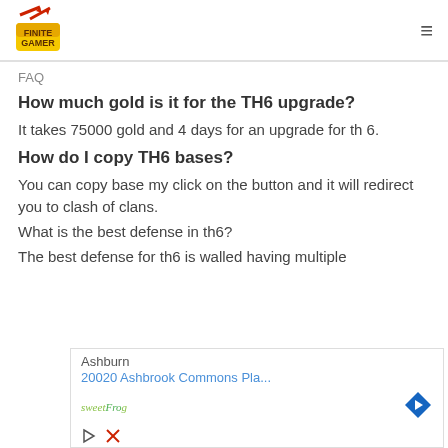FINITE GAMER (logo)
FAQ
How much gold is it for the TH6 upgrade?
It takes 75000 gold and 4 days for an upgrade for th 6.
How do I copy TH6 bases?
You can copy base my click on the button and it will redirect you to clash of clans.
What is the best defense in th6?
The best defense for th6 is walled having multiple
[Figure (screenshot): Advertisement overlay showing Ashburn location, 20020 Ashbrook Commons Pla..., sweetFrog logo, navigation diamond icon, play and close icons, Dine in / Takeout text]